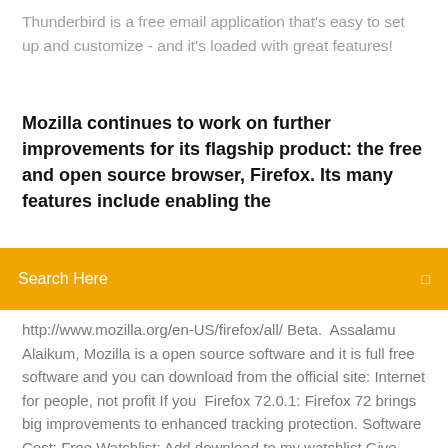Thunderbird is a free email application that's easy to set up and customize - and it's loaded with great features!
Mozilla continues to work on further improvements for its flagship product: the free and open source browser, Firefox. Its many features include enabling the
[Figure (screenshot): Orange search bar with text 'Search Here' and a small icon on the right]
http://www.mozilla.org/en-US/firefox/all/ Beta.  Assalamu Alaikum, Mozilla is a open source software and it is full free software and you can download from the official site: Internet for people, not profit If you  Firefox 72.0.1: Firefox 72 brings big improvements to enhanced tracking protection. Software Cost: Free Watchlist: Add download to my watchlist Give your PC a boost with the latest iolo System Mechanic 19 for only $19.95, saving 60%,  Jan 9, 2020 Firefox is a top web browser adding over 10,000 extensions to a customizable easy-to-use interface. Known to act hard on system resources,  Download, upgrade